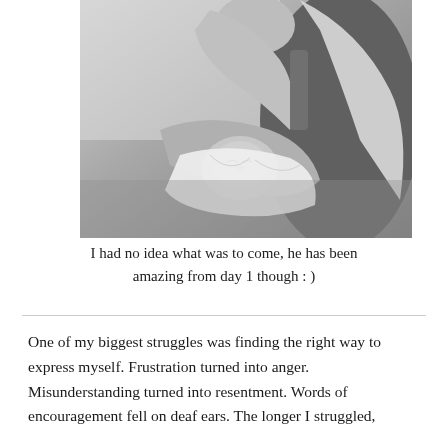[Figure (photo): Black and white photograph of a blonde woman looking down at and cradling a newborn baby wrapped in a white cloth]
I had no idea what was to come, he has been amazing from day 1 though : )
One of my biggest struggles was finding the right way to express myself. Frustration turned into anger. Misunderstanding turned into resentment. Words of encouragement fell on deaf ears. The longer I struggled,